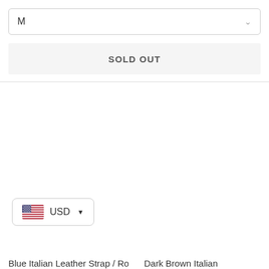M
SOLD OUT
[Figure (infographic): Currency selector widget showing US flag and USD label with dropdown arrow]
Blue Italian Leather Strap / Rose Gold
Dark Brown Italian